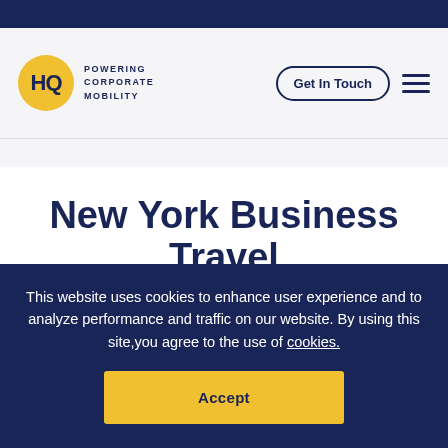[Figure (logo): HQ logo — yellow circle with 'HQ' text and 'POWERING CORPORATE MOBILITY' tagline]
Get In Touch
New York Business Travel Barometer
This website uses cookies to enhance user experience and to analyze performance and traffic on our website. By using this site, you agree to the use of cookies.
Accept